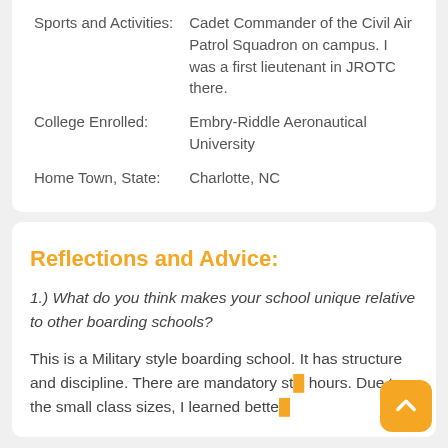| Sports and Activities: | Cadet Commander of the Civil Air Patrol Squadron on campus. I was a first lieutenant in JROTC there. |
| College Enrolled: | Embry-Riddle Aeronautical University |
| Home Town, State: | Charlotte, NC |
Reflections and Advice:
1.) What do you think makes your school unique relative to other boarding schools?
This is a Military style boarding school. It has structure and discipline. There are mandatory study hours. Due to the small class sizes, I learned bette...